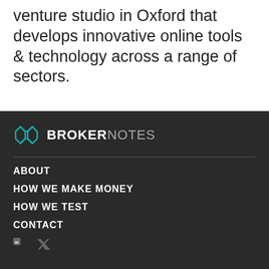venture studio in Oxford that develops innovative online tools & technology across a range of sectors.
[Figure (logo): BrokerNotes logo: teal geometric hexagon icon with BROKER in white bold uppercase and NOTES in gray uppercase]
ABOUT
HOW WE MAKE MONEY
HOW WE TEST
CONTACT
[Figure (other): Social media icons (LinkedIn and Twitter/X) in white on dark background]